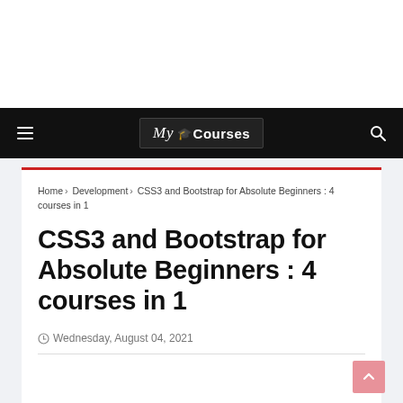[Figure (screenshot): Top white advertisement/banner area]
≡  My Courses  🔍
Home › Development › CSS3 and Bootstrap for Absolute Beginners : 4 courses in 1
CSS3 and Bootstrap for Absolute Beginners : 4 courses in 1
Wednesday, August 04, 2021